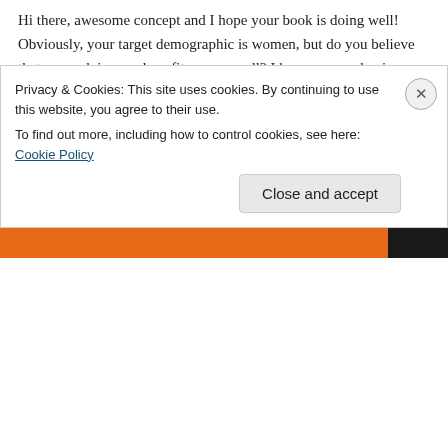Hi there, awesome concept and I hope your book is doing well! Obviously, your target demographic is women, but do you believe that your advice can benefit men as well? I hope you are having a fantastic day, and I'm looking forward to hearing from you.
Liked by 2 people
↳ Reply
Patti Clark on November 07, 2015 at 3:06 am
Privacy & Cookies: This site uses cookies. By continuing to use this website, you agree to their use.
To find out more, including how to control cookies, see here: Cookie Policy
Close and accept